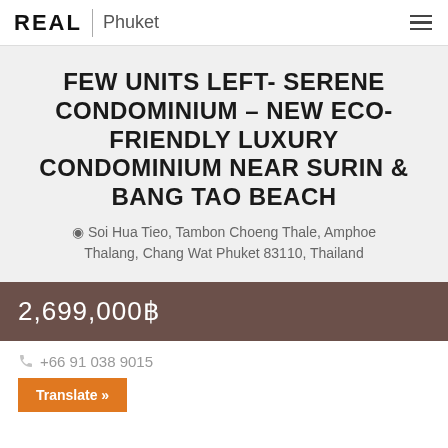REAL | Phuket
FEW UNITS LEFT- SERENE CONDOMINIUM – NEW ECO-FRIENDLY LUXURY CONDOMINIUM NEAR SURIN & BANG TAO BEACH
Soi Hua Tieo, Tambon Choeng Thale, Amphoe Thalang, Chang Wat Phuket 83110, Thailand
2,699,000฿
+66 91 038 9015